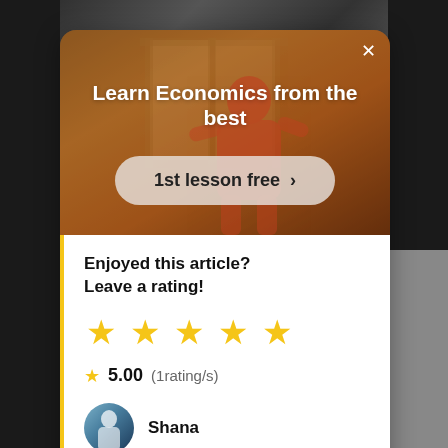[Figure (screenshot): Educational platform modal overlay showing 'Learn Economics from the best' with a '1st lesson free' CTA button over a warm-toned background photo of a person]
Enjoyed this article?
Leave a rating!
[Figure (other): Five yellow star rating icons displayed in a row]
5.00 (1rating/s)
Shana
Shana loves to travel and discover new cultures, is